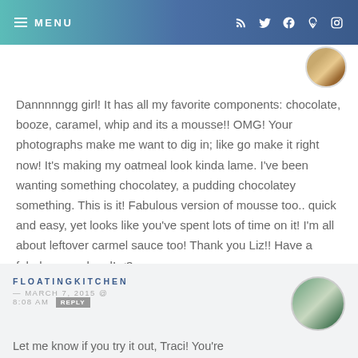MENU
Dannnnngg girl! It has all my favorite components: chocolate, booze, caramel, whip and its a mousse!! OMG! Your photographs make me want to dig in; like go make it right now! It's making my oatmeal look kinda lame. I've been wanting something chocolatey, a pudding chocolatey something. This is it! Fabulous version of mousse too.. quick and easy, yet looks like you've spent lots of time on it! I'm all about leftover carmel sauce too! Thank you Liz!! Have a fabulous weekend! <3
FLOATINGKITCHEN — MARCH 7, 2015 @ 8:08 AM REPLY
Let me know if you try it out, Traci! You're going to love it!! Have a great weekend! XO